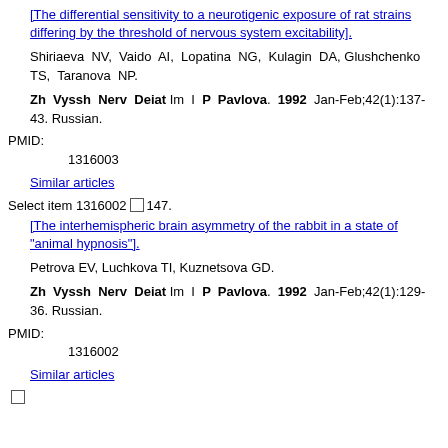[The differential sensitivity to a neurotigenic exposure of rat strains differing by the threshold of nervous system excitability].
Shiriaeva NV, Vaido AI, Lopatina NG, Kulagin DA, Glushchenko TS, Taranova NP.
Zh Vyssh Nerv Deiat Im I P Pavlova. 1992 Jan-Feb;42(1):137-43. Russian.
PMID:
1316003
Similar articles
Select item 1316002 147.
[The interhemispheric brain asymmetry of the rabbit in a state of "animal hypnosis"].
Petrova EV, Luchkova TI, Kuznetsova GD.
Zh Vyssh Nerv Deiat Im I P Pavlova. 1992 Jan-Feb;42(1):129-36. Russian.
PMID:
1316002
Similar articles